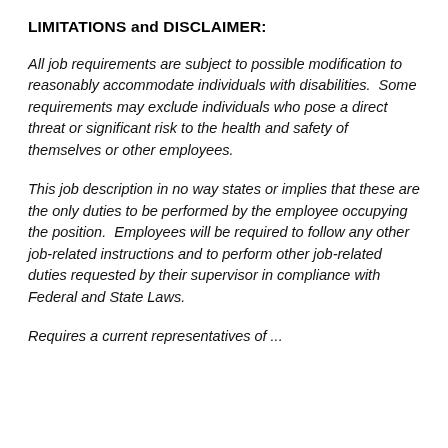LIMITATIONS and DISCLAIMER:
All job requirements are subject to possible modification to reasonably accommodate individuals with disabilities.  Some requirements may exclude individuals who pose a direct threat or significant risk to the health and safety of themselves or other employees.
This job description in no way states or implies that these are the only duties to be performed by the employee occupying the position.  Employees will be required to follow any other job-related instructions and to perform other job-related duties requested by their supervisor in compliance with Federal and State Laws.
Requires a current representatives of ...